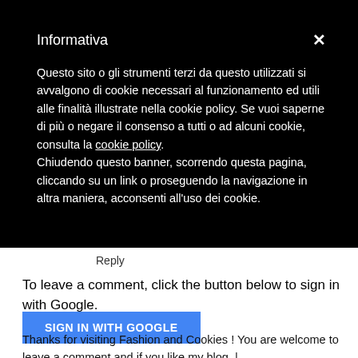Informativa
Questo sito o gli strumenti terzi da questo utilizzati si avvalgono di cookie necessari al funzionamento ed utili alle finalità illustrate nella cookie policy. Se vuoi saperne di più o negare il consenso a tutti o ad alcuni cookie, consulta la cookie policy.
Chiudendo questo banner, scorrendo questa pagina, cliccando su un link o proseguendo la navigazione in altra maniera, acconsenti all'uso dei cookie.
Reply
To leave a comment, click the button below to sign in with Google.
SIGN IN WITH GOOGLE
Thanks for visiting Fashion and Cookies ! You are welcome to leave a comment and if you like my blog, |